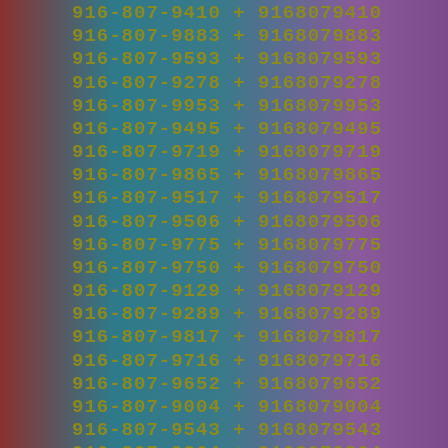| Formatted Number | + | Digits |
| --- | --- | --- |
| 916-807-9410 | + | 9168079410 |
| 916-807-9883 | + | 9168079883 |
| 916-807-9593 | + | 9168079593 |
| 916-807-9278 | + | 9168079278 |
| 916-807-9953 | + | 9168079953 |
| 916-807-9495 | + | 9168079495 |
| 916-807-9719 | + | 9168079719 |
| 916-807-9865 | + | 9168079865 |
| 916-807-9517 | + | 9168079517 |
| 916-807-9506 | + | 9168079506 |
| 916-807-9775 | + | 9168079775 |
| 916-807-9750 | + | 9168079750 |
| 916-807-9129 | + | 9168079129 |
| 916-807-9289 | + | 9168079289 |
| 916-807-9817 | + | 9168079817 |
| 916-807-9716 | + | 9168079716 |
| 916-807-9652 | + | 9168079652 |
| 916-807-9004 | + | 9168079004 |
| 916-807-9543 | + | 9168079543 |
| 916-807-9864 | + | 9168079864 |
| 916-807-9888 | + | 9168079888 |
| 916-807-9094 | + | 9168079094 |